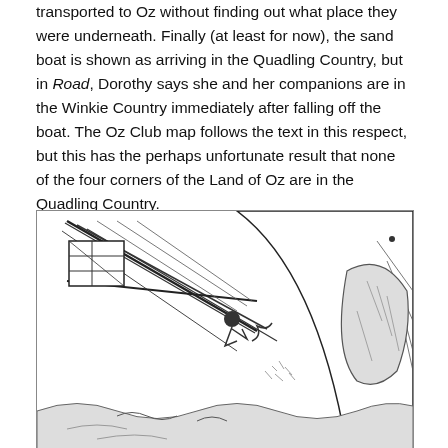transported to Oz without finding out what place they were underneath. Finally (at least for now), the sand boat is shown as arriving in the Quadling Country, but in Road, Dorothy says she and her companions are in the Winkie Country immediately after falling off the boat. The Oz Club map follows the text in this respect, but this has the perhaps unfortunate result that none of the four corners of the Land of Oz are in the Quadling Country.
[Figure (illustration): Black and white line illustration depicting a sand boat with sails in distress or action, with a figure and what appears to be waves or sand dunes. The scene is dramatic with diagonal mast lines and a large sail.]